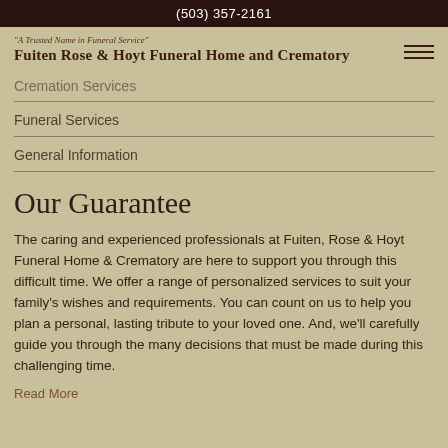(503) 357-2161
Fuiten Rose & Hoyt Funeral Home and Crematory
Cremation Services
Funeral Services
General Information
Our Guarantee
The caring and experienced professionals at Fuiten, Rose & Hoyt Funeral Home & Crematory are here to support you through this difficult time. We offer a range of personalized services to suit your family's wishes and requirements. You can count on us to help you plan a personal, lasting tribute to your loved one. And, we'll carefully guide you through the many decisions that must be made during this challenging time.
Read More